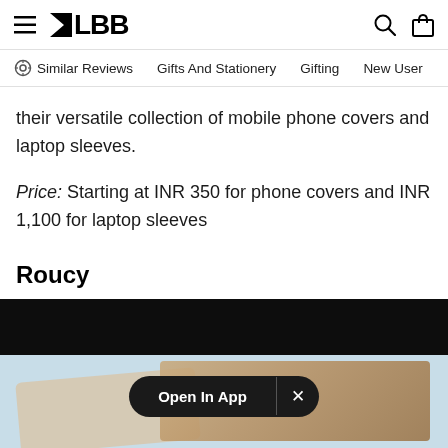LBB
Similar Reviews   Gifts And Stationery   Gifting   New User
their versatile collection of mobile phone covers and laptop sleeves.
Price: Starting at INR 350 for phone covers and INR 1,100 for laptop sleeves
Roucy
[Figure (photo): Product image of a laptop sleeve/phone cover with a vintage map design, shown on a light blue background. An 'Open In App' banner overlay is visible at the bottom center of the image.]